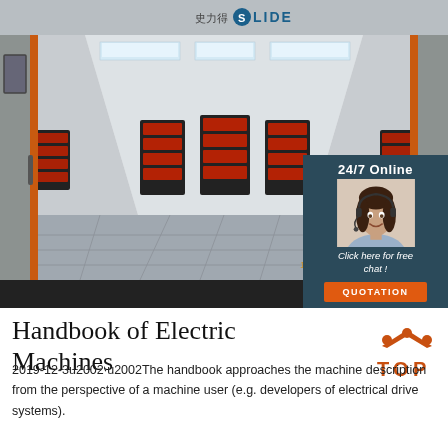[Figure (photo): Interior of an industrial paint spray booth with red infrared heating lamps on the walls, bright overhead fluorescent lighting, grey floor grating, and orange door frame on the left side. The SLIDE brand logo appears at the top of the image.]
[Figure (photo): Customer service overlay panel showing a woman with headset (call center agent), text '24/7 Online', 'Click here for free chat!', and an orange 'QUOTATION' button. Dark teal/navy background.]
Handbook of Electric Machines
2019-12-3u2002·u2002The handbook approaches the machine description from the perspective of a machine user (e.g. developers of electrical drive systems).
[Figure (logo): TOP logo — orange triangle/chevron shape with the word TOP in orange letters]